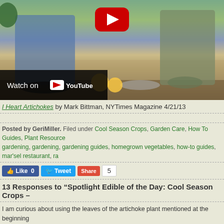[Figure (screenshot): YouTube video thumbnail showing two men cooking in a kitchen, with YouTube play button overlay and 'Watch on YouTube' overlay bar at bottom left]
I Heart Artichokes by Mark Bittman, NYTimes Magazine 4/21/13
Posted by GeriMiller. Filed under Cool Season Crops, Garden Care, How To Guides, Plant Resources, gardening, gardening, gardening guides, homegrown vegetables, how-to guides, mar'sel restaurant, ra...
Like 0  Tweet  Share  5
13 Responses to “Spotlight Edible of the Day: Cool Season Crops –
I am curious about using the leaves of the artichoke plant mentioned at the beginning uses. Would they be dried and used in a tea?